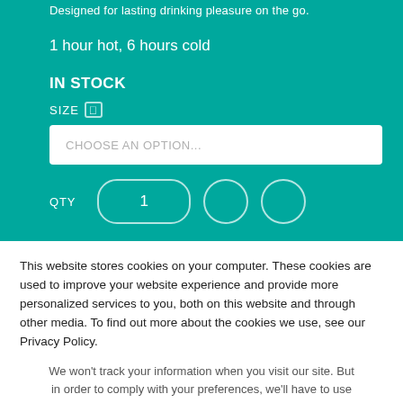Designed for lasting drinking pleasure on the go.
1 hour hot, 6 hours cold
IN STOCK
SIZE
CHOOSE AN OPTION...
QTY   1
This website stores cookies on your computer. These cookies are used to improve your website experience and provide more personalized services to you, both on this website and through other media. To find out more about the cookies we use, see our Privacy Policy.
We won't track your information when you visit our site. But in order to comply with your preferences, we'll have to use just one tiny cookie so that you're not asked to make this choice again.
Accept
Decline